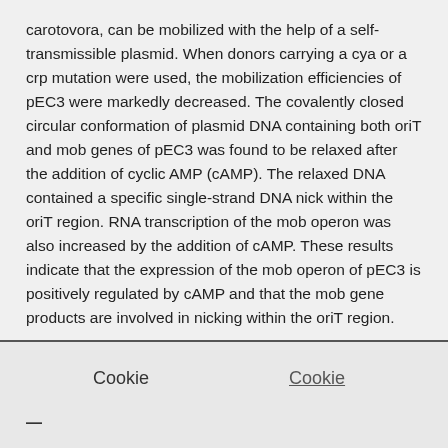carotovora, can be mobilized with the help of a self-transmissible plasmid. When donors carrying a cya or a crp mutation were used, the mobilization efficiencies of pEC3 were markedly decreased. The covalently closed circular conformation of plasmid DNA containing both oriT and mob genes of pEC3 was found to be relaxed after the addition of cyclic AMP (cAMP). The relaxed DNA contained a specific single-strand DNA nick within the oriT region. RNA transcription of the mob operon was also increased by the addition of cAMP. These results indicate that the expression of the mob operon of pEC3 is positively regulated by cAMP and that the mob gene products are involved in nicking within the oriT region.
English
Cookie   Cookie
—